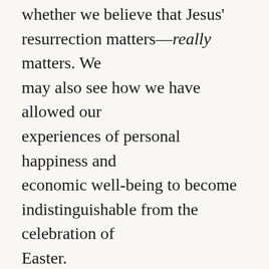whether we believe that Jesus' resurrection matters—really matters. We may also see how we have allowed our experiences of personal happiness and economic well-being to become indistinguishable from the celebration of Easter.
Perhaps, then, these are the perfect, even if lamentable, conditions for us to celebrate Easter as followers of Jesus. Perhaps now we will see if that promise means anything in the face of thunderous indifference of thousands…